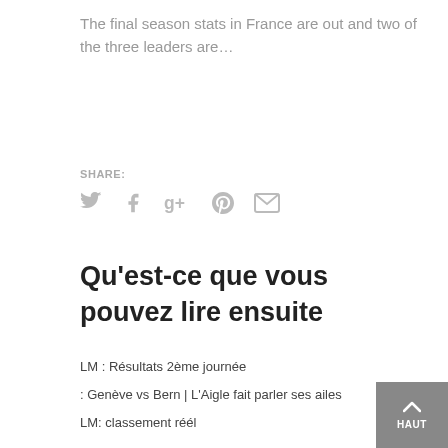The final season stats in France are out and two of the three leaders are…
SHARE:
[Figure (infographic): Social share icons: Twitter, Facebook, Google+, Pinterest, Email — all in light grey]
Qu'est-ce que vous pouvez lire ensuite
LM : Résultats 2ème journée
: Genève vs Bern | L'Aigle fait parler ses ailes
LM: classement réél
HAUT